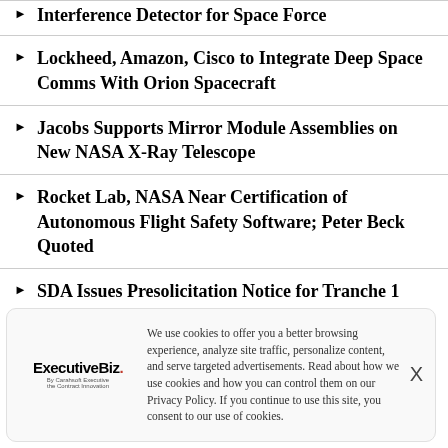Interference Detector for Space Force
Lockheed, Amazon, Cisco to Integrate Deep Space Comms With Orion Spacecraft
Jacobs Supports Mirror Module Assemblies on New NASA X-Ray Telescope
Rocket Lab, NASA Near Certification of Autonomous Flight Safety Software; Peter Beck Quoted
SDA Issues Presolicitation Notice for Tranche 1 Operations and Integration Support Program
We use cookies to offer you a better browsing experience, analyze site traffic, personalize content, and serve targeted advertisements. Read about how we use cookies and how you can control them on our Privacy Policy. If you continue to use this site, you consent to our use of cookies.